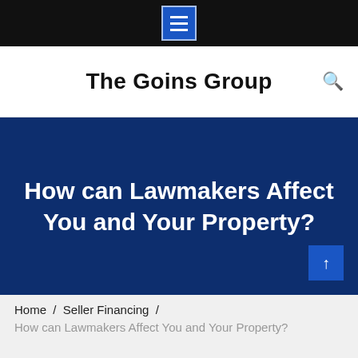The Goins Group
How can Lawmakers Affect You and Your Property?
Home / Seller Financing /
How can Lawmakers Affect You and Your Property?